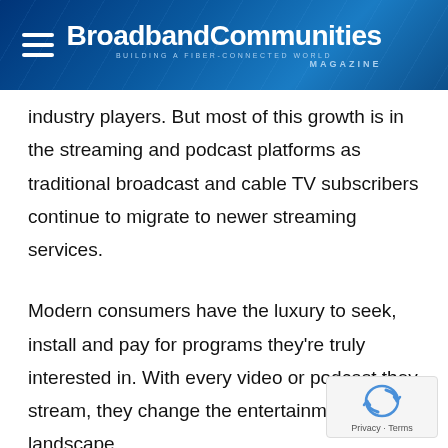BroadbandCommunities Magazine — Building a Fiber-Connected World
industry players. But most of this growth is in the streaming and podcast platforms as traditional broadcast and cable TV subscribers continue to migrate to newer streaming services.
Modern consumers have the luxury to seek, install and pay for programs they're truly interested in. With every video or podcast they stream, they change the entertainment landscape.